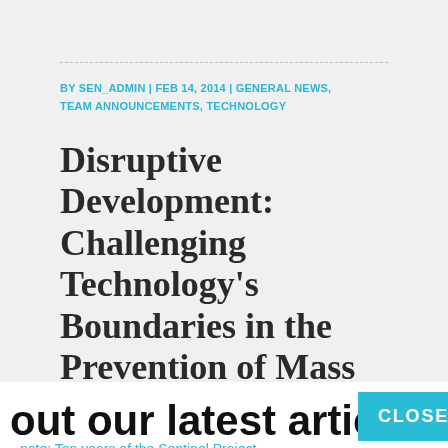BY SEN_ADMIN | FEB 14, 2014 | GENERAL NEWS, TEAM ANNOUNCEMENTS, TECHNOLOGY
Disruptive Development: Challenging Technology's Boundaries in the Prevention of Mass
out our latest article
note: Ten years of the Sentinel Project
CLOSE
media. He's taught at both New York University and the City University of New York, developed